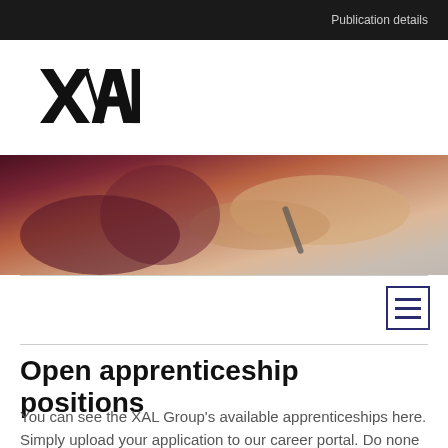Publication details
[Figure (logo): XAL company logo in bold black stylized lettering]
[Figure (photo): Close-up photo of person writing with a pen on paper, showing tattooed arm and hands against a light surface]
Open apprenticeship positions
You can see the XAL Group's available apprenticeships here. Simply upload your application to our career portal. Do none of these apprenticeships suit you? Then you are welcome to send us a